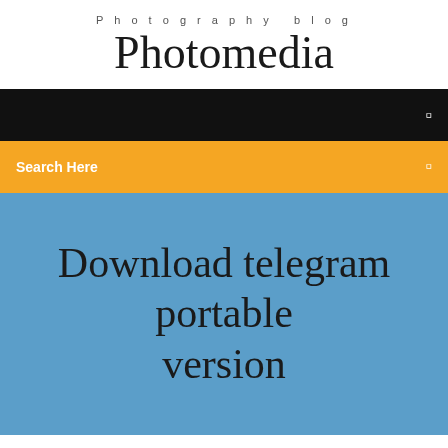Photography blog
Photomedia
Search Here
Download telegram portable version